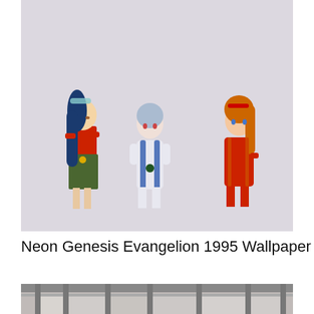[Figure (illustration): Anime illustration from Neon Genesis Evangelion (1995) showing three characters standing against a light lavender/grey background. Left character has long blue hair wearing red top and green skirt. Center character has short light blue hair in a white plugsuit. Right character has orange hair in red plugsuit, facing slightly away.]
Neon Genesis Evangelion 1995 Wallpaper
[Figure (photo): Partial bottom image showing what appears to be a building exterior or industrial structure, partially visible at the bottom of the page.]